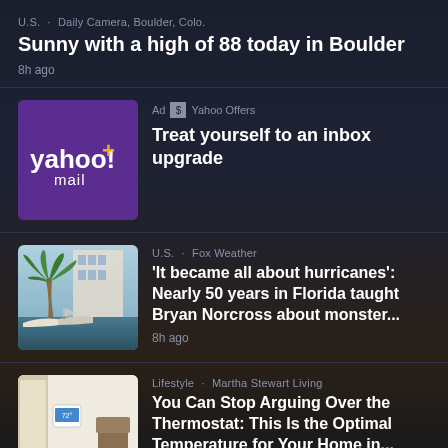U.S. · Daily Camera, Boulder, Colo.
Sunny with a high of 88 today in Boulder
8h ago
[Figure (logo): Yahoo Mail Plus logo on purple background]
Ad · Yahoo Offers
Treat yourself to an inbox upgrade
[Figure (photo): Florida marina with boats and palm trees]
U.S. · Fox Weather
'It became all about hurricanes': Nearly 50 years in Florida taught Bryan Norcross about monster...
8h ago
[Figure (photo): Modern home interior with thermostat on wall]
Lifestyle · Martha Stewart Living
You Can Stop Arguing Over the Thermostat: This Is the Optimal Temperature for Your Home in...
8h ago